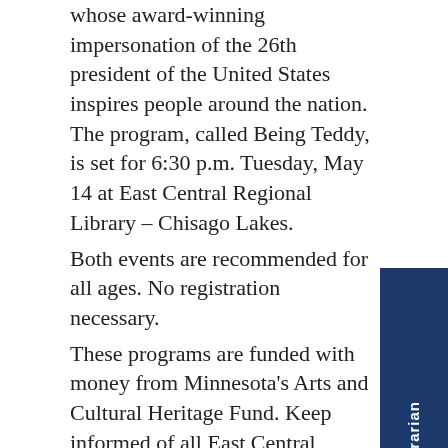whose award-winning impersonation of the 26th president of the United States inspires people around the nation. The program, called Being Teddy, is set for 6:30 p.m. Tuesday, May 14 at East Central Regional Library – Chisago Lakes.
Both events are recommended for all ages. No registration necessary.
These programs are funded with money from Minnesota's Arts and Cultural Heritage Fund. Keep informed of all East Central Regional Library events by visiting the events calendar or following us on Facebook.
[Figure (other): Vertical sidebar button with dark blue background and white rotated text reading 'Ask A Librarian']